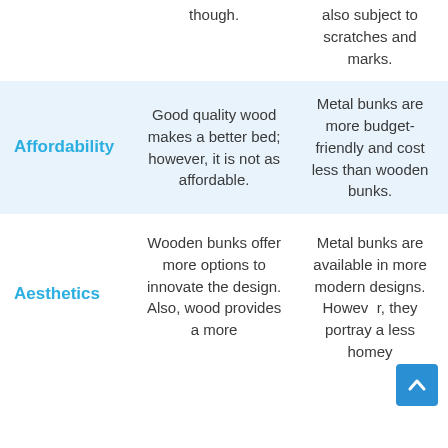| Category | Wooden Bunks | Metal Bunks |
| --- | --- | --- |
|  | though. | also subject to scratches and marks. |
| Affordability | Good quality wood makes a better bed; however, it is not as affordable. | Metal bunks are more budget-friendly and cost less than wooden bunks. |
| Aesthetics | Wooden bunks offer more options to innovate the design. Also, wood provides a more | Metal bunks are available in more modern designs. However, they portray a less homey |